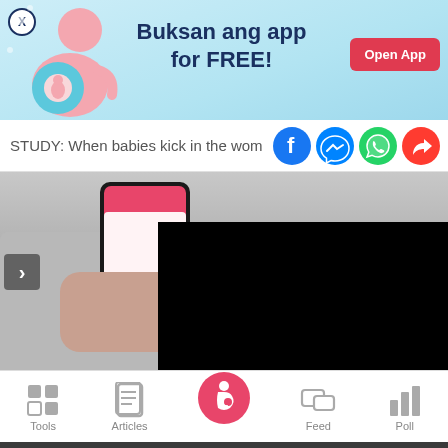[Figure (infographic): App promotion banner with light blue background, pregnancy illustration on left, text 'Buksan ang app for FREE!' in center, 'Open App' red button on right, X close button top-left]
STUDY: When babies kick in the wom
[Figure (photo): Pregnant person holding a smartphone showing an app, seated on grey couch, with black video panel overlay on right side]
[Figure (screenshot): Bottom navigation bar with icons: Tools (grid), Articles (clipboard), Home/pregnant icon (pink circle), Feed (chat bubbles), Poll (bar chart)]
We use cookies to ensure you get the best experience.
Learn More   Ok, Got it